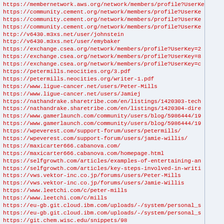https://membernetwork.aws.org/network/members/profile?UserKe...
https://community.cement.org/network/members/profile?UserKe...
https://community.cement.org/network/members/profile?UserKe...
https://community.cement.org/network/members/profile?UserKe...
http://v6430.m3xs.net/user/johnstein
http://v6430.m3xs.net/user/emybaker
https://exchange.csea.org/network/members/profile?UserKey=2...
https://exchange.csea.org/network/members/profile?UserKey=8...
https://exchange.csea.org/network/members/profile?UserKey=c...
https://petermills.neocities.org/3.pdf
https://petermills.neocities.org/writer-1.pdf
https://www.ligue-cancer.net/users/Peter-Mills
https://www.ligue-cancer.net/users/Jamiej
https://nathandrake.sharetribe.com/en/listings/1420303-tech...
https://nathandrake.sharetribe.com/en/listings/1420304-dire...
https://www.gamerlaunch.com/community/users/blog/5986444/19...
https://www.gamerlaunch.com/community/users/blog/5986444/19...
https://wpeverest.com/support-forum/users/petermills/
https://wpeverest.com/support-forum/users/jamie-willis/
https://maxicarter666.cabanova.com/
https://maxicarter666.cabanova.com/homepage.html
https://selfgrowth.com/articles/examples-of-entertaining-an...
https://selfgrowth.com/articles/key-steps-involved-in-writi...
https://vws.vektor-inc.co.jp/forums/users/Peter-Mills
https://vws.vektor-inc.co.jp/forums/users/Jamie-Willis
https://www.leetchi.com/c/peter-mills
https://www.leetchi.com/c/mills
https://eu-gb.git.cloud.ibm.com/uploads/-/system/personal_s...
https://eu-gb.git.cloud.ibm.com/uploads/-/system/personal_s...
https://git.chem.wisc.edu/snippets/98